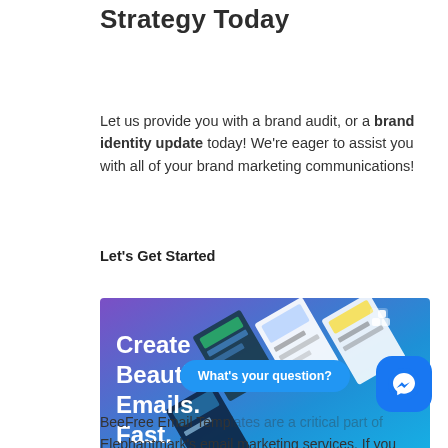Strategy Today
Let us provide you with a brand audit, or a brand identity update today! We're eager to assist you with all of your brand marketing communications!
Let's Get Started
[Figure (advertisement): BeeFree email builder advertisement with blue/purple gradient background and text 'Create Beautiful Emails. Fast.' with screenshots of email templates shown diagonally.]
BeeFree Email Templates are a critical part of Elephantmark's email marketing services. If you want